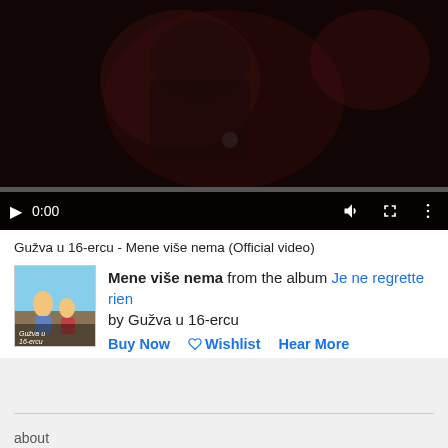[Figure (screenshot): Video player showing a dark music video still with playback controls (play button, 0:00 timestamp, volume, fullscreen, more options icons) and a progress bar at the bottom.]
Gužva u 16-ercu - Mene više nema (Official video)
[Figure (photo): Album cover thumbnail for 'Je ne regrette rien' by Gužva u 16-ercu showing two young boys outdoors.]
Mene više nema from the album Je ne regrette rien by Gužva u 16-ercu
Buy Now  Wishlist  Hear More
about
[Figure (logo): Circular logo with large letters visible: E, N, C in bold black on white background, partially cut off at bottom of page.]